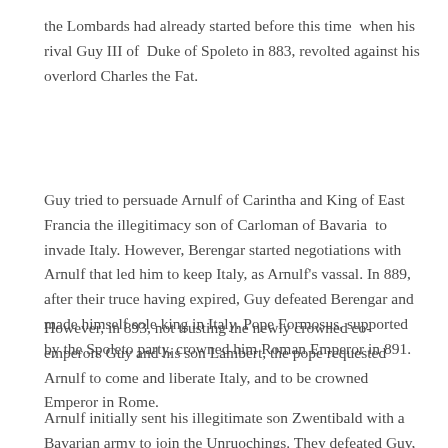the Lombards had already started before this time  when his rival Guy III of  Duke of Spoleto in 883, revolted against his overlord Charles the Fat.
Guy tried to persuade Arnulf of Carintha and King of East Francia the illegitimacy son of Carloman of Bavaria  to invade Italy. However, Berengar started negotiations with Arnulf that led him to keep Italy, as Arnulf's vassal. In 889, after their truce having expired, Guy defeated Berengar and made himself sole king in Italy. Pope Formosus, supported by the Spoleto party, crowned him Roman Emperor in 891.
However, in 893, not trusting the newly crowned co-emperors Guy and his son Lambert, the pope requested Arnulf to come and liberate Italy, and to be crowned Emperor in Rome.
Arnulf initially sent his illegitimate son Zwentibald with a Bavarian army to join the Unruochings. They defeated Guy, but the not to